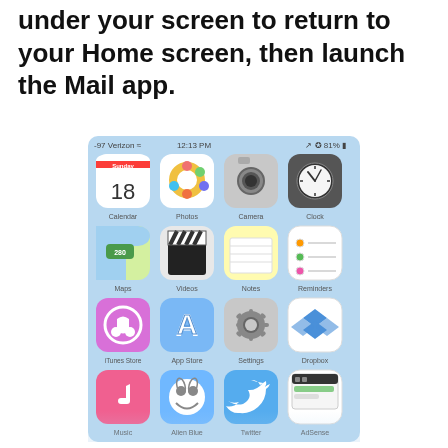under your screen to return to your Home screen, then launch the Mail app.
[Figure (screenshot): iPhone home screen showing apps: Calendar (Sunday 18), Photos, Camera, Clock, Maps, Videos, Notes, Reminders, iTunes Store, App Store, Settings, Dropbox, Music, Alien Blue, Twitter, AdSense. Status bar shows -97 Verizon, 12:13 PM, 81% battery.]